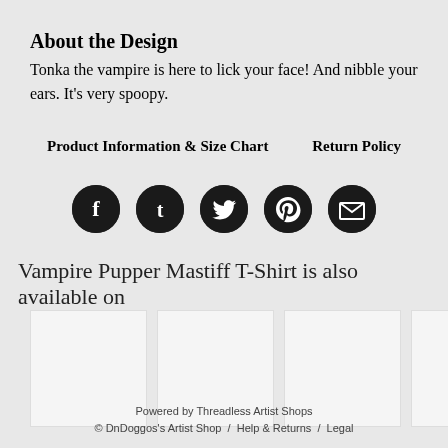About the Design
Tonka the vampire is here to lick your face! And nibble your ears. It's very spoopy.
Product Information & Size Chart    Return Policy
[Figure (infographic): Five social media sharing icons (Facebook, Tumblr, Twitter, Pinterest, Email) as white icons on dark circular backgrounds]
Vampire Pupper Mastiff T-Shirt is also available on
[Figure (photo): Six white thumbnail product image placeholders in a horizontal row]
Powered by Threadless Artist Shops
© DnDoggos's Artist Shop  /  Help & Returns  /  Legal